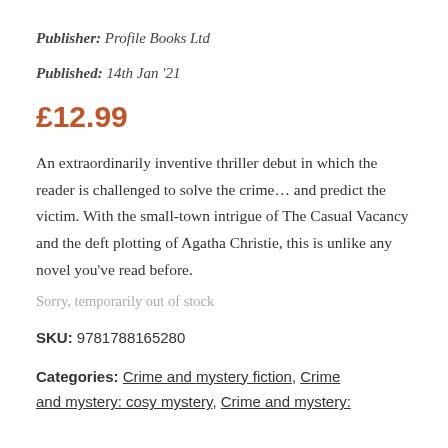Publisher: Profile Books Ltd
Published: 14th Jan '21
£12.99
An extraordinarily inventive thriller debut in which the reader is challenged to solve the crime… and predict the victim. With the small-town intrigue of The Casual Vacancy and the deft plotting of Agatha Christie, this is unlike any novel you've read before.
Sorry, temporarily out of stock
SKU: 9781788165280
Categories: Crime and mystery fiction, Crime and mystery: cosy mystery, Crime and mystery: